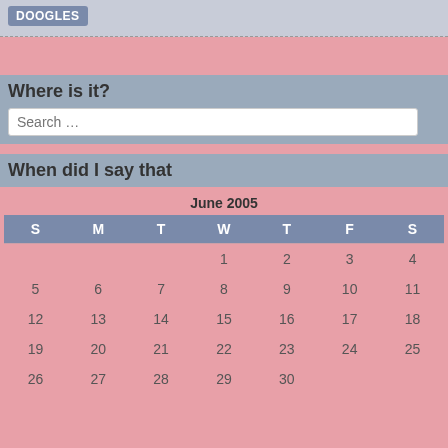DOOGLES
Where is it?
Search …
When did I say that
| S | M | T | W | T | F | S |
| --- | --- | --- | --- | --- | --- | --- |
|  |  |  | 1 | 2 | 3 | 4 |
| 5 | 6 | 7 | 8 | 9 | 10 | 11 |
| 12 | 13 | 14 | 15 | 16 | 17 | 18 |
| 19 | 20 | 21 | 22 | 23 | 24 | 25 |
| 26 | 27 | 28 | 29 | 30 |  |  |